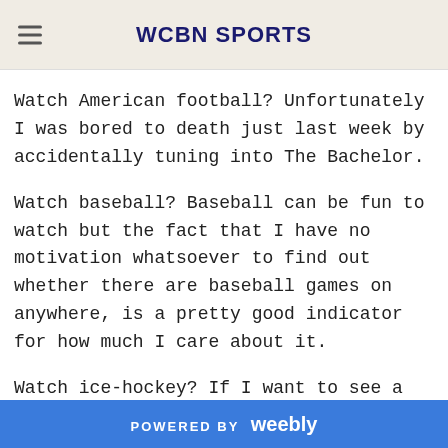WCBN SPORTS
Watch American football? Unfortunately I was bored to death just last week by accidentally tuning into The Bachelor.
Watch baseball? Baseball can be fun to watch but the fact that I have no motivation whatsoever to find out whether there are baseball games on anywhere, is a pretty good indicator for how much I care about it.
Watch ice-hockey? If I want to see a bunch of toothless guys beat each other up in a game I don't understand and probably will never understand, I might as well go right ahead
POWERED BY weebly